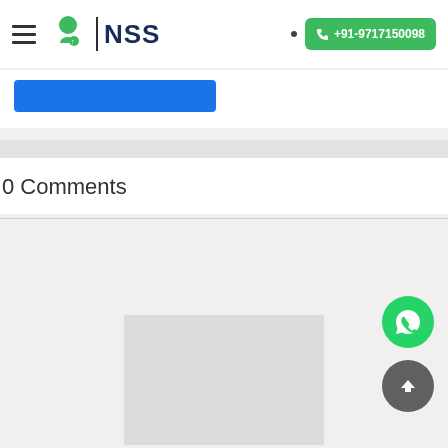NSS | +91-9717150098
[Figure (screenshot): Blue button bar (partially visible blue rectangle button)]
0 Comments
[Figure (photo): Gray placeholder image area in lower half of page]
[Figure (illustration): WhatsApp floating action button (green circle with WhatsApp icon)]
[Figure (illustration): Scroll-to-top floating button (dark gray circle with upward arrow)]